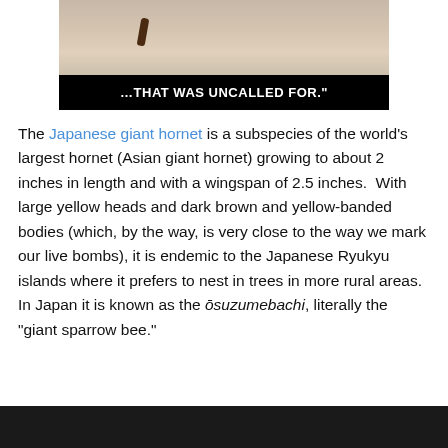[Figure (photo): Photo of a hand holding what appears to be a small insect, with a black caption bar below reading '...THAT WAS UNCALLED FOR.']
The Japanese giant hornet is a subspecies of the world's largest hornet (Asian giant hornet) growing to about 2 inches in length and with a wingspan of 2.5 inches. With large yellow heads and dark brown and yellow-banded bodies (which, by the way, is very close to the way we mark our live bombs), it is endemic to the Japanese Ryukyu islands where it prefers to nest in trees in more rural areas. In Japan it is known as the ōsuzumebachi, literally the "giant sparrow bee."
[Figure (photo): Bottom portion of a dark photograph, partially visible at the bottom of the page.]